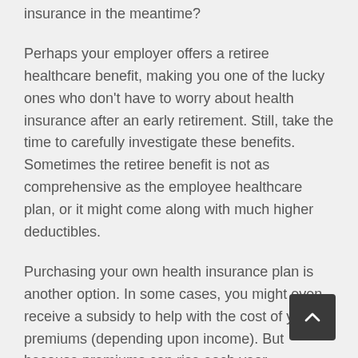insurance in the meantime?
Perhaps your employer offers a retiree healthcare benefit, making you one of the lucky ones who don't have to worry about health insurance after an early retirement. Still, take the time to carefully investigate these benefits. Sometimes the retiree benefit is not as comprehensive as the employee healthcare plan, or it might come along with much higher deductibles.
Purchasing your own health insurance plan is another option. In some cases, you might even receive a subsidy to help with the cost of your premiums (depending upon income). But because premiums can rise each year (sometimes dramatically), you will want to plan very carefully for this expense. It probably won't be cheap!
You might even feel tempted to try and go without healthcare for three years until you can access Medicare. This is not a good idea! Just one accident or illness could